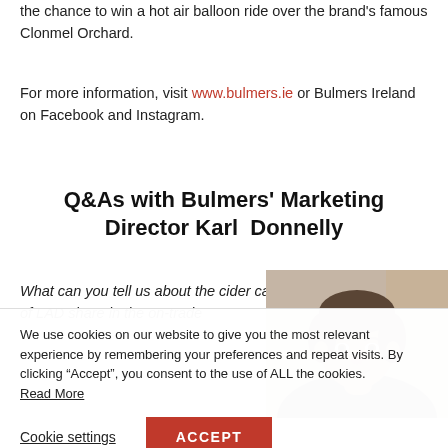the chance to win a hot air balloon ride over the brand's famous Clonmel Orchard.
For more information, visit www.bulmers.ie or Bulmers Ireland on Facebook and Instagram.
Q&As with Bulmers' Marketing Director Karl Donnelly
What can you tell us about the cider category in terms of LAD share in the on-trade
[Figure (photo): Headshot photo of Karl Donnelly, a middle-aged man]
We use cookies on our website to give you the most relevant experience by remembering your preferences and repeat visits. By clicking "Accept", you consent to the use of ALL the cookies. Read More
Cookie settings  ACCEPT